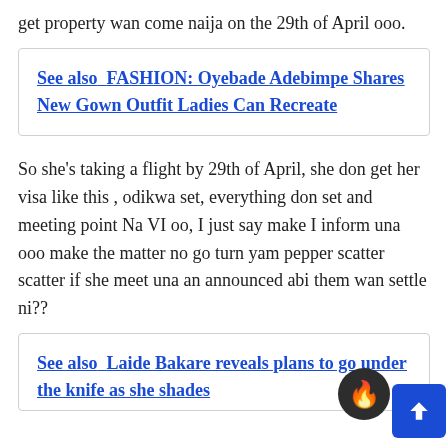get property wan come naija on the 29th of April ooo.
See also  FASHION: Oyebade Adebimpe Shares New Gown Outfit Ladies Can Recreate
So she's taking a flight by 29th of April, she don get her visa like this , odikwa set, everything don set and meeting point Na VI oo, I just say make I inform una ooo make the matter no go turn yam pepper scatter scatter if she meet una an announced abi them wan settle ni??
See also  Laide Bakare reveals plans to go under the knife as she shades